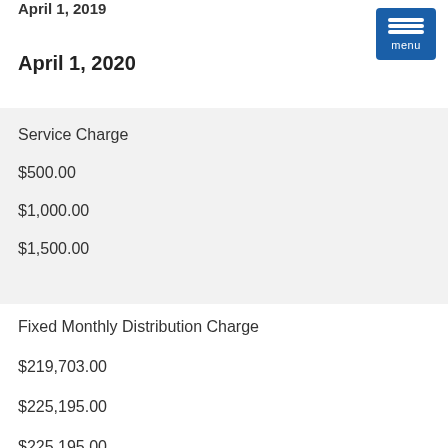April 1, 2019
[Figure (other): Blue menu button with three horizontal lines and 'menu' label]
April 1, 2020
| Service Charge |
| --- |
| $500.00 |
| $1,000.00 |
| $1,500.00 |
Fixed Monthly Distribution Charge
$219,703.00
$225,195.00
$225,195.00